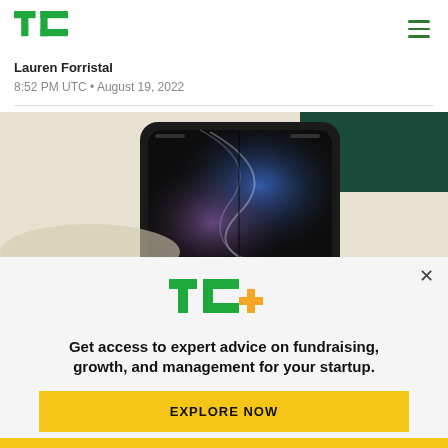TechCrunch logo and navigation
Lauren Forristal
8:52 PM UTC • August 19, 2022
[Figure (photo): Foldable smartphone (Samsung Galaxy Z Fold) open on a light surface, showing a dark abstract wallpaper with swirling shapes, photographed from above at slight angle.]
[Figure (logo): TechCrunch TC+ logo in green with orange plus sign]
Get access to expert advice on fundraising, growth, and management for your startup.
EXPLORE NOW